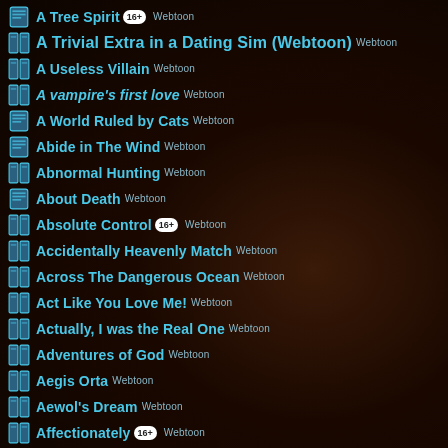A Tree Spirit [16+] Webtoon
A Trivial Extra in a Dating Sim (Webtoon) Webtoon
A Useless Villain Webtoon
A vampire's first love Webtoon
A World Ruled by Cats Webtoon
Abide in The Wind Webtoon
Abnormal Hunting Webtoon
About Death Webtoon
Absolute Control [16+] Webtoon
Accidentally Heavenly Match Webtoon
Across The Dangerous Ocean Webtoon
Act Like You Love Me! Webtoon
Actually, I was the Real One Webtoon
Adventures of God Webtoon
Aegis Orta Webtoon
Aewol's Dream Webtoon
Affectionately [16+] Webtoon
After the Work Is Finished [16+] Webtoon
Afterschool Adventure Webtoon
Aideen Webtoon
Akuma to eirian [16+] Webtoon
Alice Webtoon
Alissa and the Magic Diary Webtoon
All DAY JO AYOUNG Webtoon